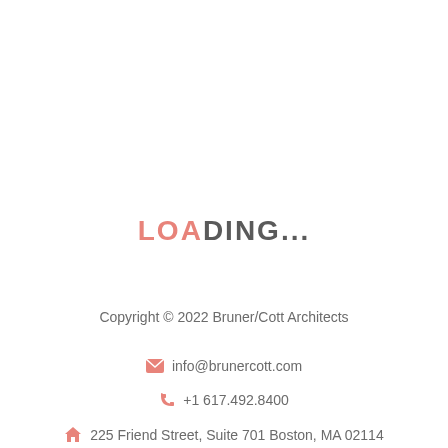LOADING...
Copyright © 2022 Bruner/Cott Architects
info@brunercott.com
+1 617.492.8400
225 Friend Street, Suite 701 Boston, MA 02114